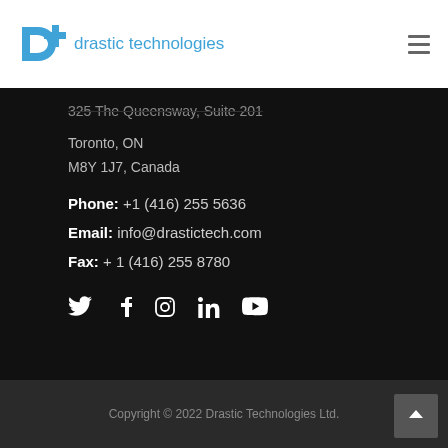drastic technologies
325 The Queensway, Suite 201
Toronto, ON
M8Y 1J7, Canada
Phone: +1 (416) 255 5636
Email: info@drastictech.com
Fax: + 1 (416) 255 8780
[Figure (illustration): Social media icons row: Twitter, Facebook, Instagram, LinkedIn, YouTube]
Copyright © 2022 Drastic Technologies Ltd.